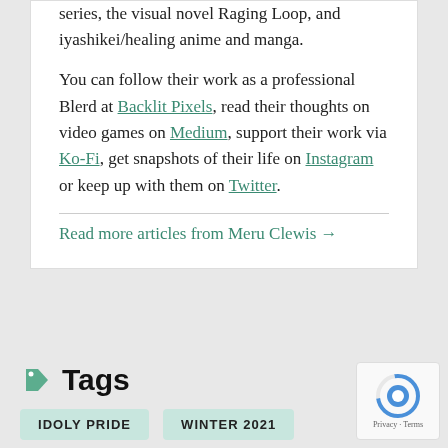series, the visual novel Raging Loop, and iyashikei/healing anime and manga.
You can follow their work as a professional Blerd at Backlit Pixels, read their thoughts on video games on Medium, support their work via Ko-Fi, get snapshots of their life on Instagram or keep up with them on Twitter.
Read more articles from Meru Clewis →
Tags
IDOLY PRIDE
WINTER 2021